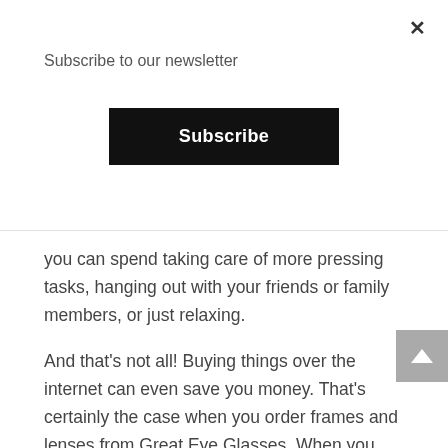Subscribe to our newsletter
[Figure (other): Black Subscribe button]
you can spend taking care of more pressing tasks, hanging out with your friends or family members, or just relaxing.
And that's not all! Buying things over the internet can even save you money. That's certainly the case when you order frames and lenses from Great Eye Glasses. When you shop for eyeglasses on our website, you'll see hundreds of frames in sizes ranging from extra small to large at affordable price points. We even have a generous number of frames available for $10 or less.